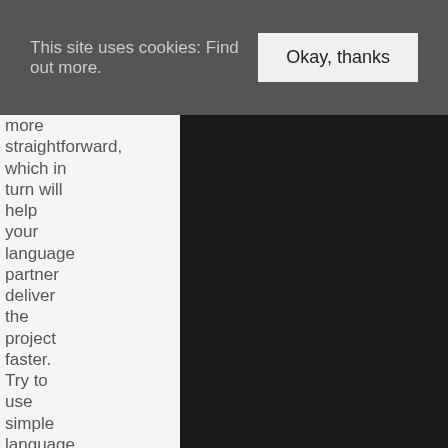This site uses cookies: Find out more. Okay, thanks
more straightforward, which in turn will help your language partner deliver the project faster. Try to use simple language and shorter sentences especially for straight-